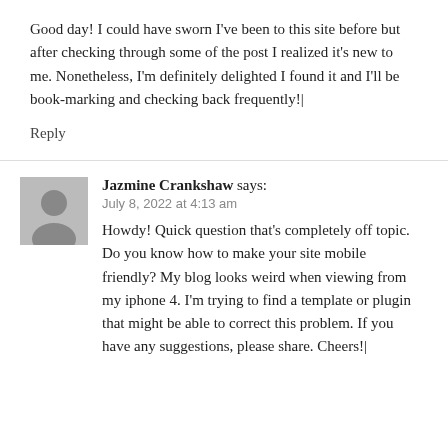Good day! I could have sworn I've been to this site before but after checking through some of the post I realized it's new to me. Nonetheless, I'm definitely delighted I found it and I'll be book-marking and checking back frequently!|
Reply
Jazmine Crankshaw says:
July 8, 2022 at 4:13 am
Howdy! Quick question that's completely off topic. Do you know how to make your site mobile friendly? My blog looks weird when viewing from my iphone 4. I'm trying to find a template or plugin that might be able to correct this problem. If you have any suggestions, please share. Cheers!|